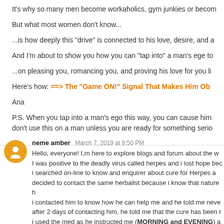It’s why so many men become workaholics, gym junkies or beco…
But what most women don’t know...
…is how deeply this “drive” is connected to his love, desire, and a…
And I’m about to show you how you can “tap into” a man’s ege t…
…on pleasing you, romancing you, and proving his love for you li…
Here’s how: ==> The “Game ON!” Signal That Makes Him Ob…
Ana
P.S. When you tap into a man’s ego this way, you can cause him… don’t use this on a man unless you are ready for something serio…
neme amber  March 7, 2019 at 9:50 PM
Hello, everyone! I,m here to explore blogs and forum about the w… I was positive to the deadly virus called herpes and i lost hope bec… i searched on-line to know and enquirer about cure for Herpes a… decided to contact the same herbalist because i know that nature h… i contacted him to know how he can help me and he told me neve… after 2 days of contacting him, he told me that the cure has been r… i used the med as he instructed me (MORNING and EVENING) a…